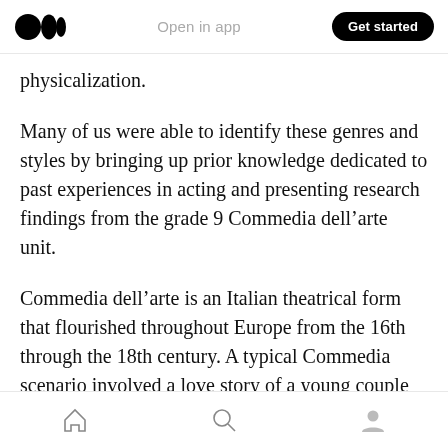Open in app  Get started
physicalization.
Many of us were able to identify these genres and styles by bringing up prior knowledge dedicated to past experiences in acting and presenting research findings from the grade 9 Commedia dell’arte unit.
Commedia dell’arte is an Italian theatrical form that flourished throughout Europe from the 16th through the 18th century. A typical Commedia scenario involved a love story of a young couple thwarted by their parents. I would normally use
Home  Search  Profile